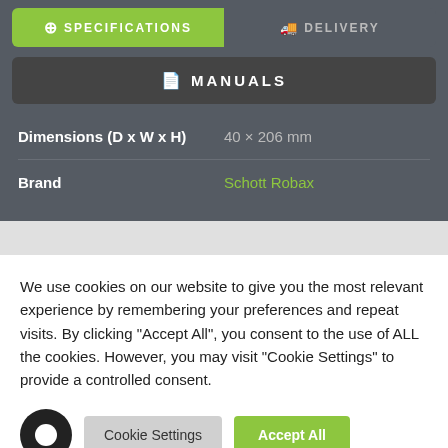[Figure (screenshot): Navigation tab bar with SPECIFICATIONS (green active tab) and DELIVERY (inactive tab)]
[Figure (screenshot): Dark MANUALS button with document icon]
| Property | Value |
| --- | --- |
| Dimensions (D x W x H) | 40 × 206 mm |
| Brand | Schott Robax |
We use cookies on our website to give you the most relevant experience by remembering your preferences and repeat visits. By clicking "Accept All", you consent to the use of ALL the cookies. However, you may visit "Cookie Settings" to provide a controlled consent.
[Figure (screenshot): Cookie consent buttons: Cookie Settings (grey) and Accept All (green), with chat bubble icon]